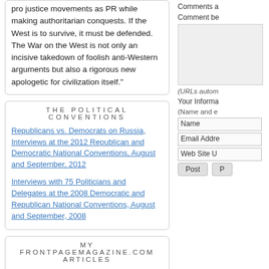pro justice movements as PR while making authoritarian conquests. If the West is to survive, it must be defended. The War on the West is not only an incisive takedown of foolish anti-Western arguments but also a rigorous new apologetic for civilization itself."
THE POLITICAL CONVENTIONS
Republicans vs. Democrats on Russia, Interviews at the 2012 Republican and Democratic National Conventions, August and September, 2012
Interviews with 75 Politicians and Delegates at the 2008 Democratic and Republican National Conventions, August and September, 2008
MY FRONTPAGEMAGAZINE.COM ARTICLES
A Memorial Day Travesty
No Child Left Unbrainwashed
Brainwashing in Grade School
The Los Angeles Times Distorts the News
The "Progressive" Plan to Save Our Lives
Deportation to Siberia: The Story of Laima Veckalne
Comments a
Comment be
(URLs autom
Your Informa
(Name and e
Name
Email Addre
Web Site U
Post